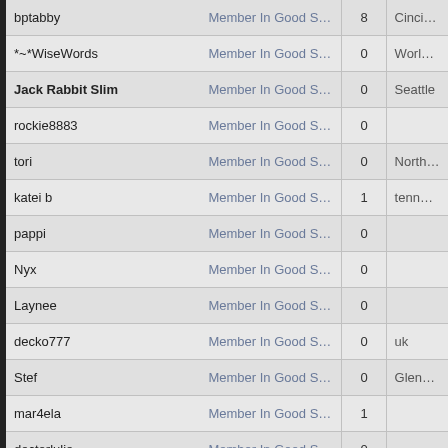| Username | Status | Posts | Location |
| --- | --- | --- | --- |
| bptabby | Member In Good Standing | 8 | Cincinnati |
| *~*WiseWords | Member In Good Standing | 0 | WorldWideWeb |
| Jack Rabbit Slim | Member In Good Standing | 0 | Seattle |
| rockie8883 | Member In Good Standing | 0 |  |
| tori | Member In Good Standing | 0 | Northern NJ |
| katei b | Member In Good Standing | 1 | tennessee |
| pappi | Member In Good Standing | 0 |  |
| Nyx | Member In Good Standing | 0 |  |
| Laynee | Member In Good Standing | 0 |  |
| decko777 | Member In Good Standing | 0 | uk |
| Stef | Member In Good Standing | 0 | Glendale, AZ |
| mar4ela | Member In Good Standing | 1 |  |
| doctorlulie | Member In Good Standing | 0 |  |